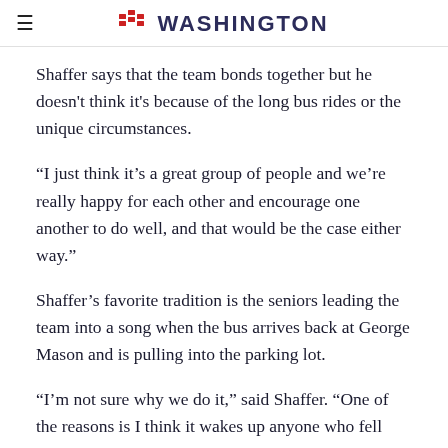≡  FIND WASHINGTON
Shaffer says that the team bonds together but he doesn't think it's because of the long bus rides or the unique circumstances.
“I just think it’s a great group of people and we’re really happy for each other and encourage one another to do well, and that would be the case either way.”
Shaffer’s favorite tradition is the seniors leading the team into a song when the bus arrives back at George Mason and is pulling into the parking lot.
“I’m not sure why we do it,” said Shaffer. “One of the reasons is I think it wakes up anyone who fell asleep.”
💬  0 COMMENTS